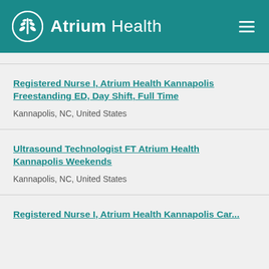Atrium Health
Registered Nurse I, Atrium Health Kannapolis Freestanding ED, Day Shift, Full Time
Kannapolis, NC, United States
Ultrasound Technologist FT Atrium Health Kannapolis Weekends
Kannapolis, NC, United States
Registered Nurse I, Atrium Health Kannapolis Care...